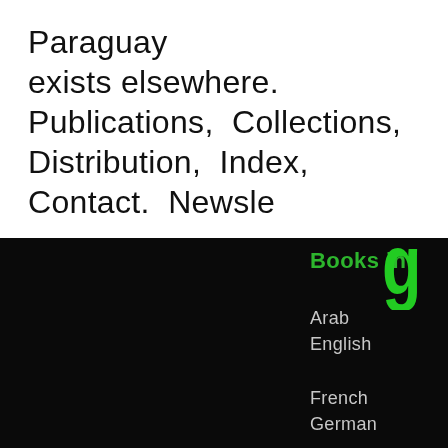Paraguay exists elsewhere.  Publications,  Collections,  Distribution,  Index,  Contact.  Newsletter
[Figure (logo): Large green letter 'g' logo overlapping white and black sections]
Books in
Arab
English
French
German